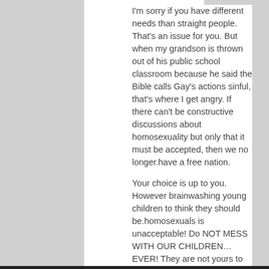I'm sorry if you have different needs than straight people. That's an issue for you. But when my grandson is thrown out of his public school classroom because he said the Bible calls Gay's actions sinful, that's where I get angry. If there can't be constructive discussions about homosexuality but only that it must be accepted, then we no longer.have a free nation.

Your choice is up to you. However brainwashing young children to think they should be.homosexuals is unacceptable! Do NOT MESS WITH OUR CHILDREN…EVER! They are not yours to exploit!